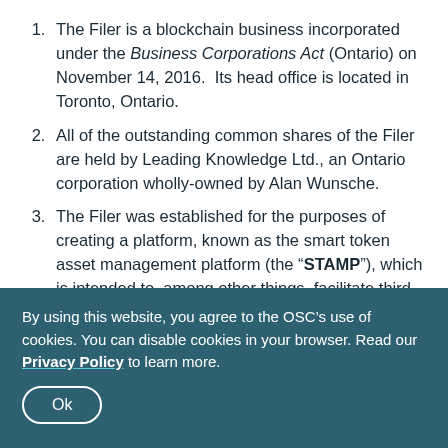The Filer is a blockchain business incorporated under the Business Corporations Act (Ontario) on November 14, 2016. Its head office is located in Toronto, Ontario.
All of the outstanding common shares of the Filer are held by Leading Knowledge Ltd., an Ontario corporation wholly-owned by Alan Wunsche.
The Filer was established for the purposes of creating a platform, known as the smart token asset management platform (the “STAMP”), which is intended to, among other things, facilitate third-party issuers raising capital through the offering of
By using this website, you agree to the OSC’s use of cookies. You can disable cookies in your browser. Read our Privacy Policy to learn more.